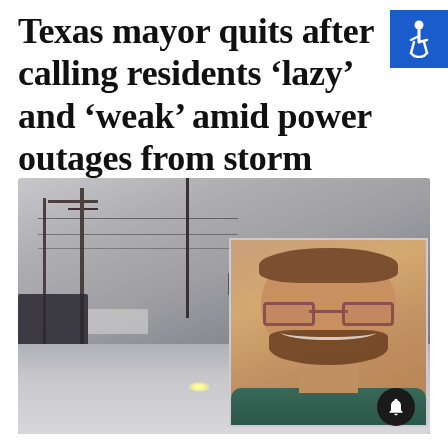Texas mayor quits after calling residents 'lazy' and 'weak' amid power outages from storm
[Figure (photo): Composite image: background shows a snowy winter storm scene with a street, utility poles, power lines, and a lone car with headlights on in blizzard conditions (black and white/grey tones); overlaid inset portrait shows a smiling heavyset man with short hair, glasses, and a beard wearing a teal/turquoise shirt, identified as the Texas mayor who resigned. A notification bell icon appears in the lower right of the image. An accessibility (wheelchair) icon appears in the upper right corner of the page.]